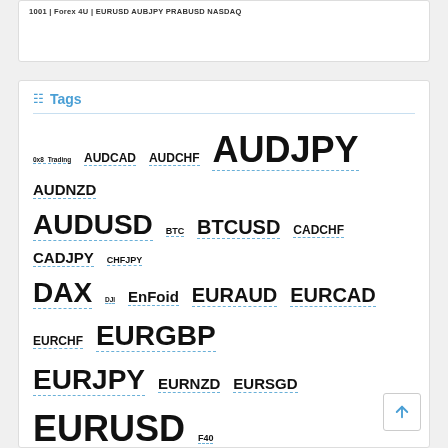1001 | Forex 4U | EURUSD AUBJPY PRABUSD NASDAQ
Tags
0x8 Trading AUDCAD AUDCHF AUDJPY AUDNZD AUDUSD BTC BTCUSD CADCHF CADJPY CHFJPY DAX DJI EnFoid EURAUD EURCAD EURCHF EURGBP EURJPY EURNZD EURSGD EURUSD F40 GBPAUD GBPCAD GBPCHF GBPJPY GBPNZD GBPUSD GOLD HengSeng HK50 NASDAQ Nikkei NZDCAD NZDJPY NZDUSD S&P 500 SGDJPY USDCAD USDCHF USDJPY